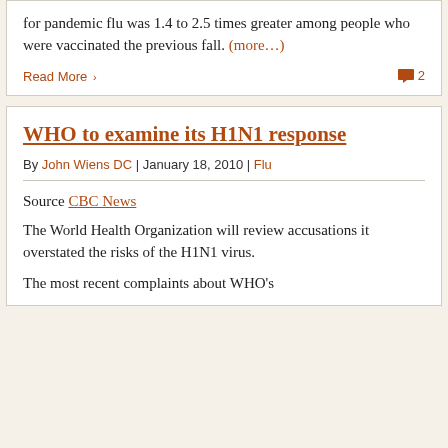for pandemic flu was 1.4 to 2.5 times greater among people who were vaccinated the previous fall. (more…)
Read More
2
WHO to examine its H1N1 response
By John Wiens DC | January 18, 2010 | Flu
Source CBC News
The World Health Organization will review accusations it overstated the risks of the H1N1 virus.
The most recent complaints about WHO's